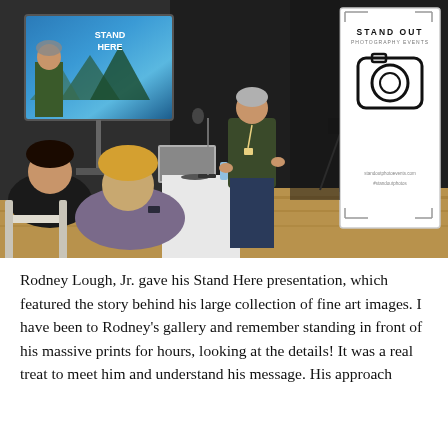[Figure (photo): A man (Rodney Lough Jr.) giving a presentation at a photography event called Stand Out. He stands behind a white podium with a large screen showing his 'Stand Here' book/presentation behind him and a camera on a tripod to his right. Two audience members are seated in the foreground facing him. A Stand Out Photography Events banner is visible on the right side.]
Rodney Lough, Jr. gave his Stand Here presentation, which featured the story behind his large collection of fine art images. I have been to Rodney's gallery and remember standing in front of his massive prints for hours, looking at the details! It was a real treat to meet him and understand his message. His approach